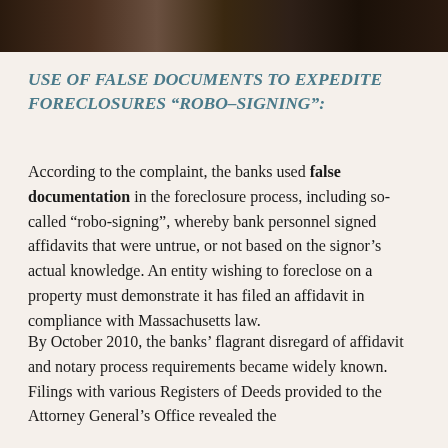[Figure (photo): Dark photograph strip showing a courtroom or formal interior setting, partial view with dark tones of brown and black.]
USE OF FALSE DOCUMENTS TO EXPEDITE FORECLOSURES “ROBO–SIGNING”:
According to the complaint, the banks used false documentation in the foreclosure process, including so-called “robo-signing”, whereby bank personnel signed affidavits that were untrue, or not based on the signor’s actual knowledge. An entity wishing to foreclose on a property must demonstrate it has filed an affidavit in compliance with Massachusetts law.
By October 2010, the banks’ flagrant disregard of affidavit and notary process requirements became widely known. Filings with various Registers of Deeds provided to the Attorney General’s Office revealed the